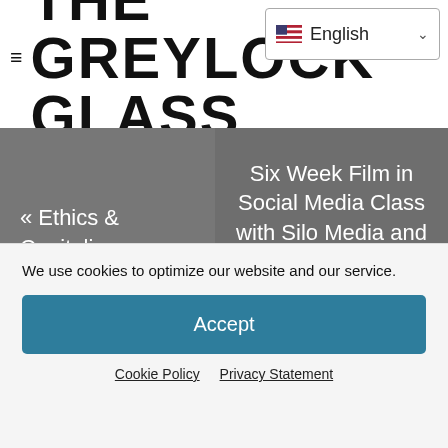THE GREYLOCK GLASS
« Ethics & Capitalism
Six Week Film in Social Media Class with Silo Media and Professionality Consulting »
We use cookies to optimize our website and our service.
Accept
Cookie Policy   Privacy Statement